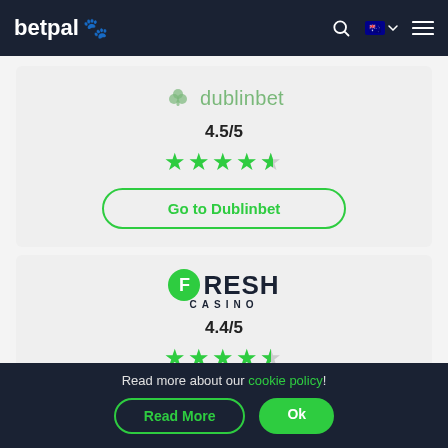betpal
[Figure (logo): Dublinbet logo with clover icon and brand name 'dublinbet' in green]
4.5/5
[Figure (other): 4.5 out of 5 green stars rating]
Go to Dublinbet
[Figure (logo): Fresh Casino logo with green F circle and bold FRESH CASINO text]
4.4/5
[Figure (other): 4.4 out of 5 green stars rating]
Read more about our cookie policy!
Read More
Ok